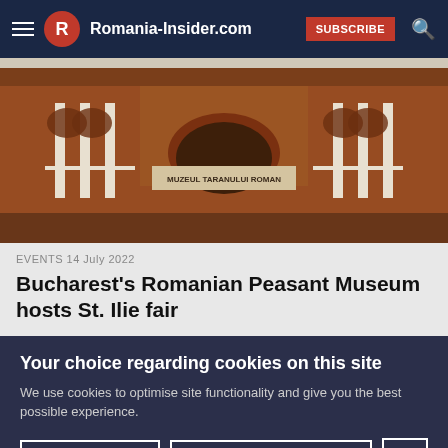Romania-Insider.com | SUBSCRIBE
[Figure (photo): Exterior facade of Muzeul Taranului Roman (Romanian Peasant Museum) in Bucharest, showing red brick arched architecture with white columns and a central sign reading MUZEUL TARANULUI ROMAN]
EVENTS 14 July 2022
Bucharest's Romanian Peasant Museum hosts St. Ilie fair
Your choice regarding cookies on this site
We use cookies to optimise site functionality and give you the best possible experience.
Accept | Cookie Preferences | X